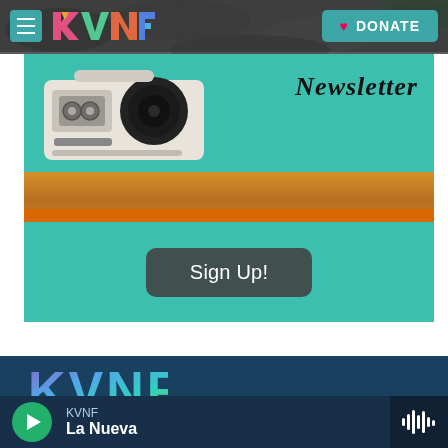KVNF | DONATE
[Figure (photo): Newsletter banner with a boombox/radio on a wooden shelf against a teal background, with the word 'Newsletter' in large italic serif font. Below the shelf is a teal green signup section with a 'Sign Up!' button.]
Sign Up!
[Figure (logo): KVNF logo in gradient purple-teal-green colors on dark teal/navy background]
KVNF
La Nueva